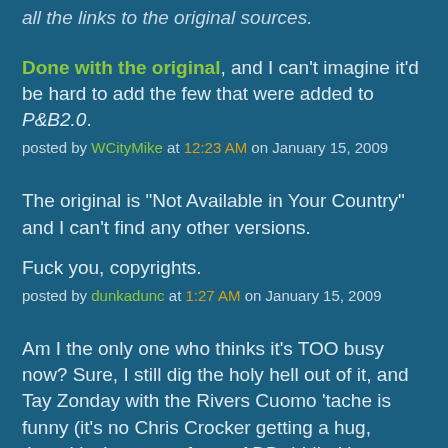all the links to the original sources.
Done with the original, and I can't imagine it'd be hard to add the few that were added to P&B2.0.
posted by WCityMike at 12:23 AM on January 15, 2009
The original is "Not Available in Your Country" and I can't find any other versions.

Fuck you, copyrights.
posted by dunkadunc at 1:27 AM on January 15, 2009
Am I the only one who thinks it's TOO busy now? Sure, I still dig the holy hell out of it, and Tay Zonday with the Rivers Cuomo 'tache is funny (it's no Chris Crocker getting a hug, though) - but, even for an ADD riddled internet dweller such as myself, they have laid too many things in.